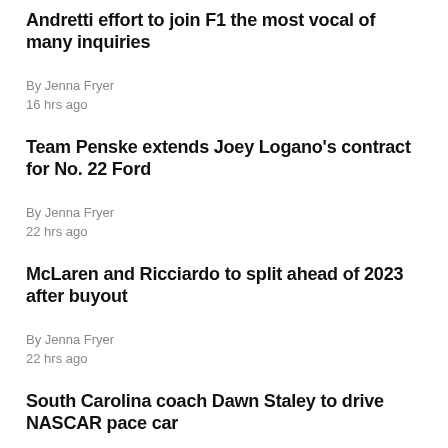Andretti effort to join F1 the most vocal of many inquiries
By Jenna Fryer
16 hrs ago
Team Penske extends Joey Logano's contract for No. 22 Ford
By Jenna Fryer
22 hrs ago
McLaren and Ricciardo to split ahead of 2023 after buyout
By Jenna Fryer
22 hrs ago
South Carolina coach Dawn Staley to drive NASCAR pace car
Aug. 23, 2022 03:17 PM EDT
AUTO RACING: Larson heating up? Newgarden chases title No. 3